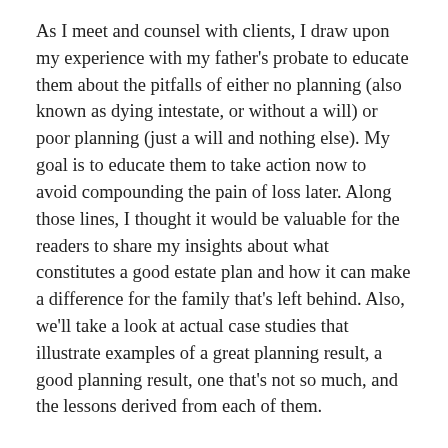As I meet and counsel with clients, I draw upon my experience with my father's probate to educate them about the pitfalls of either no planning (also known as dying intestate, or without a will) or poor planning (just a will and nothing else). My goal is to educate them to take action now to avoid compounding the pain of loss later. Along those lines, I thought it would be valuable for the readers to share my insights about what constitutes a good estate plan and how it can make a difference for the family that's left behind. Also, we'll take a look at actual case studies that illustrate examples of a great planning result, a good planning result, one that's not so much, and the lessons derived from each of them.